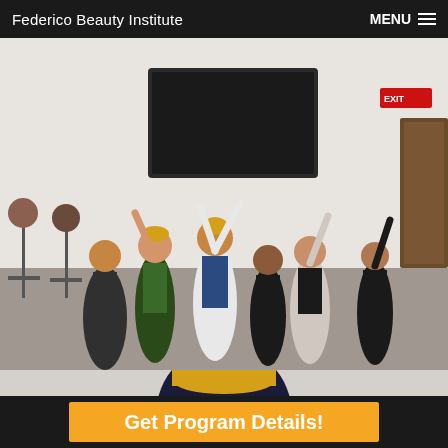Federico Beauty Institute   MENU
[Figure (photo): Group of students and instructor jumping and celebrating in a classroom with wig mannequins on stands to the left and a large TV screen on the wall behind them.]
[Figure (photo): Partial view of a person with dark blue/black hair wearing a yellow hat, cropped at the top of the image.]
Get Program Details!